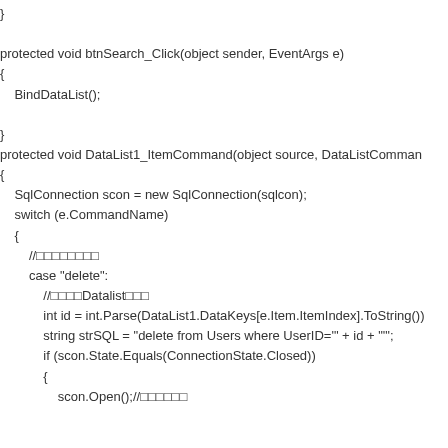}

protected void btnSearch_Click(object sender, EventArgs e)
{
    BindDataList();

}
protected void DataList1_ItemCommand(object source, DataListComman
{
    SqlConnection scon = new SqlConnection(sqlcon);
    switch (e.CommandName)
    {
        //□□□□□□□□
        case "delete":
            //□□□□Datalist□□□
            int id = int.Parse(DataList1.DataKeys[e.Item.ItemIndex].ToString())
            string strSQL = "delete from Users where UserID='" + id + "'";
            if (scon.State.Equals(ConnectionState.Closed))
            {
                scon.Open();//□□□□□□